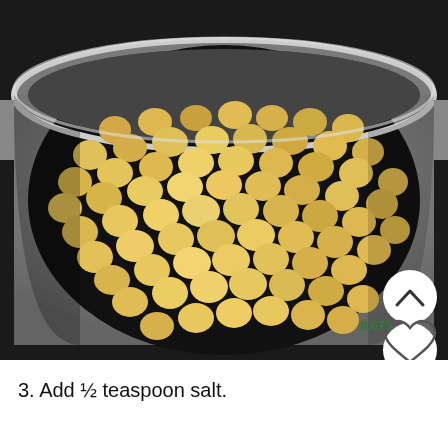[Figure (photo): Close-up photo of chickpeas (garbanzo beans) in a silver/stainless steel pot, shot from above at a slight angle. The chickpeas are golden-tan colored and fill most of the pot. Background is dark/black. UI overlay elements visible: a white circular chevron-up button, a white circular heart/favorite button, a green circular search/magnify button, and a partially visible count '8,679' in green text.]
3. Add ½ teaspoon salt.